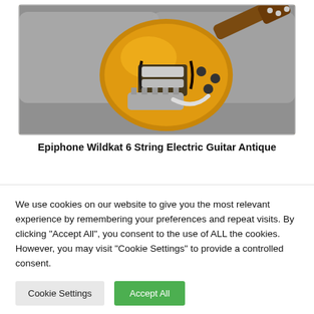[Figure (photo): Photo of an Epiphone Wildkat 6 String Electric Guitar in antique natural/amber finish, displayed on a silver/grey surface. The guitar has chrome hardware, f-holes, and a Bigsby-style tremolo.]
Epiphone Wildkat 6 String Electric Guitar Antique
We use cookies on our website to give you the most relevant experience by remembering your preferences and repeat visits. By clicking "Accept All", you consent to the use of ALL the cookies. However, you may visit "Cookie Settings" to provide a controlled consent.